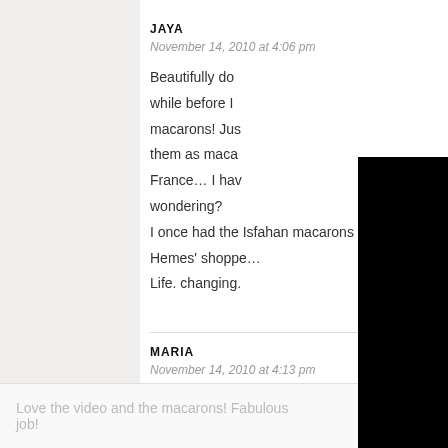JAYA
November 14, 2010 at 4:06 pm
Beautifully do... while before I... macarons! Jus... them as maca... France... I hav... wondering?
I once had the Isfahan macarons from Pierre Hemes' shoppe...
Life. changing.
[Figure (photo): Black rectangle overlay covering right portion of the comment text]
MARIA
November 14, 2010 at 4:13 pm
Love the video and the macarons! Fabulous job!